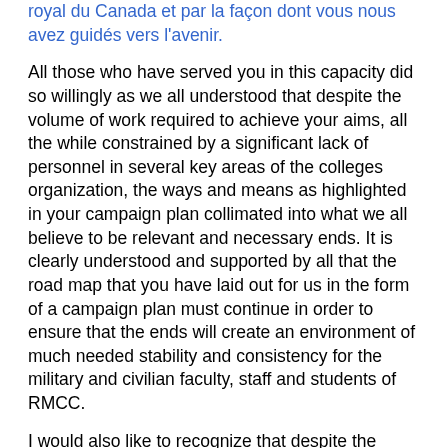royal du Canada et par la façon dont vous nous avez guidés vers l'avenir.
All those who have served you in this capacity did so willingly as we all understood that despite the volume of work required to achieve your aims, all the while constrained by a significant lack of personnel in several key areas of the colleges organization, the ways and means as highlighted in your campaign plan collimated into what we all believe to be relevant and necessary ends. It is clearly understood and supported by all that the road map that you have laid out for us in the form of a campaign plan must continue in order to ensure that the ends will create an environment of much needed stability and consistency for the military and civilian faculty, staff and students of RMCC.
I would also like to recognize that despite the perceived desire for you to achieve the ends, at a rate of change that seemed almost unattainable by us mere mortals, it was your actions sir that highlighted that despite the need for change, you consistently demonstrated that your true priority was to ensure that all who entered the doors of RMCC were always our most important allies.